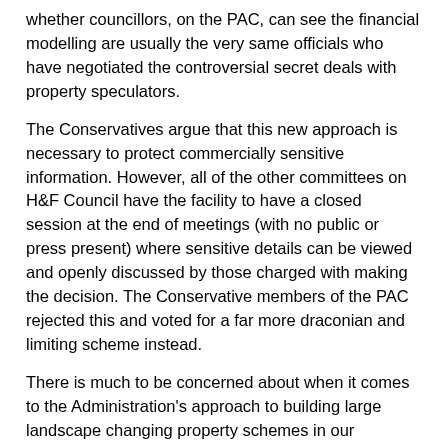whether councillors, on the PAC, can see the financial modelling are usually the very same officials who have negotiated the controversial secret deals with property speculators.
The Conservatives argue that this new approach is necessary to protect commercially sensitive information. However, all of the other committees on H&F Council have the facility to have a closed session at the end of meetings (with no public or press present) where sensitive details can be viewed and openly discussed by those charged with making the decision. The Conservative members of the PAC rejected this and voted for a far more draconian and limiting scheme instead.
There is much to be concerned about when it comes to the Administration's approach to building large landscape changing property schemes in our Borough. If ever I write to senior officials to ask for details of the dozens of secret meetings officials and Administration Conservative Councillors often have with property speculators I get very little back. Officials responds saying they set no agenda